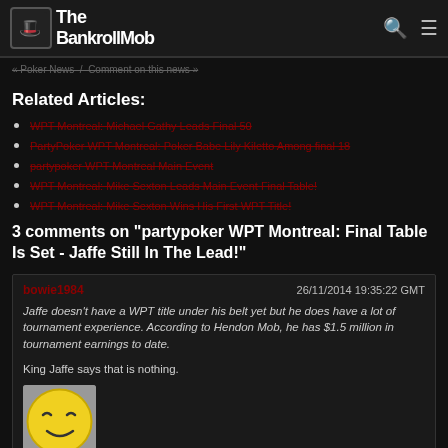The BankrollMob
« Poker News / Comment on this news »
Related Articles:
WPT Montreal: Michael Gathy Leads Final 50
PartyPoker WPT Montreal: Poker Babe Lily Kiletto Among final 18
partypoker WPT Montreal Main Event
WPT Montreal: Mike Sexton Leads Main Event Final Table!
WPT Montreal: Mike Sexton Wins His First WPT Title!
3 comments on "partypoker WPT Montreal: Final Table Is Set - Jaffe Still In The Lead!"
bowie1984   26/11/2014 19:35:22 GMT
Jaffe doesn't have a WPT title under his belt yet but he does have a lot of tournament experience. According to Hendon Mob, he has $1.5 million in tournament earnings to date.

King Jaffe says that is nothing.
[Figure (illustration): Smiley face emoji illustration, round yellow face with squinting/sleeping expression, partially cropped at bottom of page]